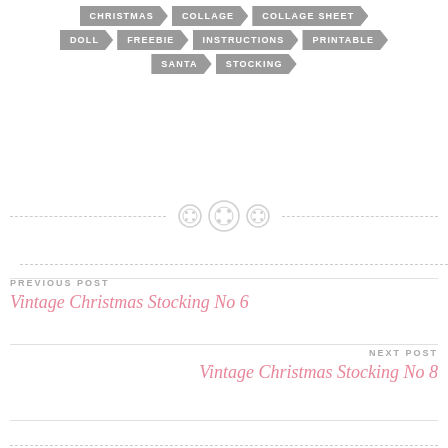CHRISTMAS | COLLAGE | COLLAGE SHEET
DOLL | FREEBIE | INSTRUCTIONS | PRINTABLE
SANTA | STOCKING
[Figure (illustration): Three decorative button icons used as a horizontal divider between dashed lines]
PREVIOUS POST
Vintage Christmas Stocking No 6
NEXT POST
Vintage Christmas Stocking No 8